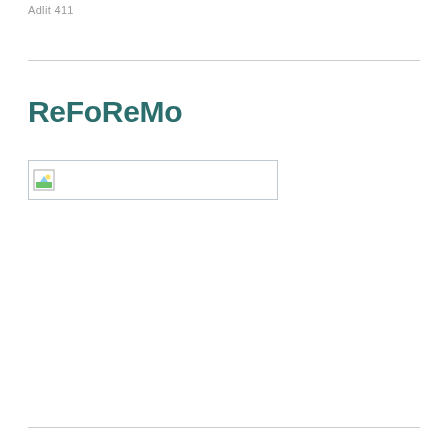Adlit 411
ReFoReMo
[Figure (illustration): A broken/missing image placeholder with a small landscape icon on the left, inside a rectangular bordered box.]